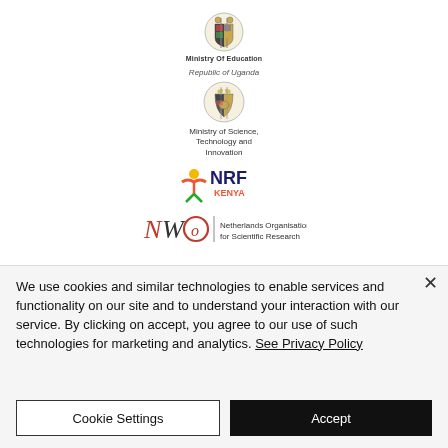[Figure (logo): Ministry of Education coat of arms emblem logo with text 'Ministry Of Education' below]
Republic of Uganda
[Figure (logo): Republic of Uganda coat of arms emblem with text 'Ministry of Science, Technology and Innovation' below]
[Figure (logo): NRF Kenya logo - red and green figure with NRF KENYA text]
[Figure (logo): NWO Netherlands Organisation for Scientific Research logo]
We use cookies and similar technologies to enable services and functionality on our site and to understand your interaction with our service. By clicking on accept, you agree to our use of such technologies for marketing and analytics. See Privacy Policy